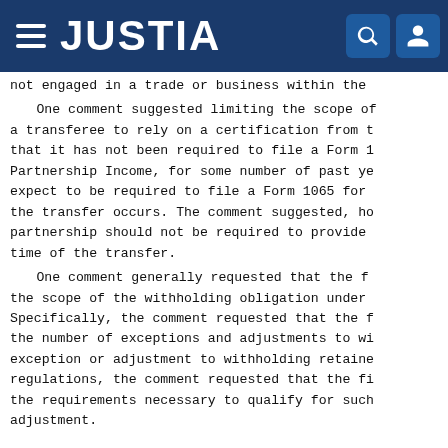JUSTIA
not engaged in a trade or business within the
One comment suggested limiting the scope of a transferee to rely on a certification from t that it has not been required to file a Form 1 Partnership Income, for some number of past ye expect to be required to file a Form 1065 for the transfer occurs. The comment suggested, ho partnership should not be required to provide time of the transfer.
One comment generally requested that the f the scope of the withholding obligation under Specifically, the comment requested that the f the number of exceptions and adjustments to wi exception or adjustment to withholding retaine regulations, the comment requested that the fi the requirements necessary to qualify for such adjustment.